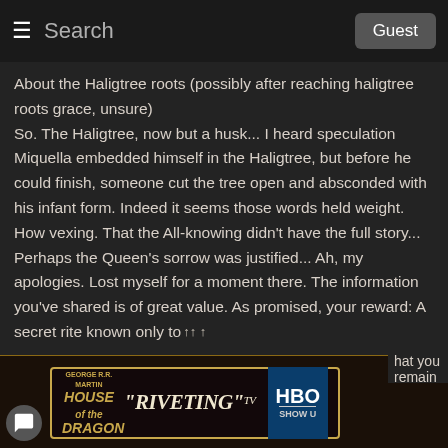≡  Search  Guest
About the Haligtree roots (possibly after reaching haligtree roots grace, unsure)
So. The Haligtree, now but a husk... I heard speculation Miquella embedded himself in the Haligtree, but before he could finish, someone cut the tree open and absconded with his infant form. Indeed it seems those words held weight. How vexing. That the All-knowing didn't have the full story... Perhaps the Queen's sorrow was justified... Ah, my apologies. Lost myself for a moment there. The information you've shared is of great value. As promised, your reward: A secret rite known only to
that you remain
[Figure (screenshot): Advertisement banner for House of the Dragon on HBO with text 'RIVETING' TV]